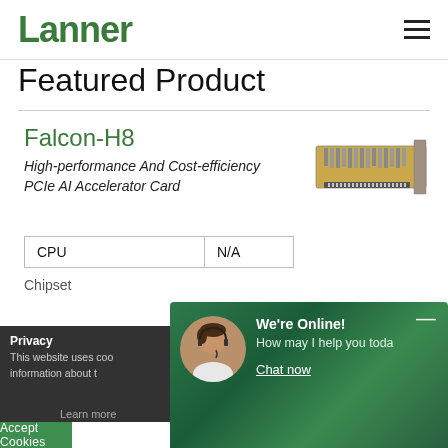Lanner
Featured Product
Falcon-H8
High-performance And Cost-efficiency PCIe AI Accelerator Card
[Figure (photo): Photo of Falcon-H8 PCIe AI Accelerator Card hardware component]
| CPU | N/A |
| --- | --- |
| Chipset |  |
Privacy
This website uses coo... information about t...
We're Online!
How may I help you toda
Chat now
Accept Cookies